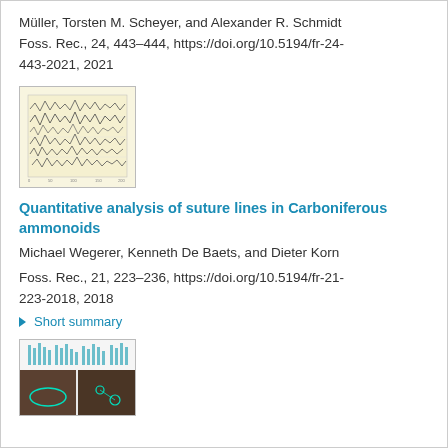Müller, Torsten M. Scheyer, and Alexander R. Schmidt
Foss. Rec., 24, 443–444, https://doi.org/10.5194/fr-24-443-2021, 2021
[Figure (other): Small thumbnail image showing suture line plots on a yellowish background with multiple zigzag/wave pattern lines]
Quantitative analysis of suture lines in Carboniferous ammonoids
Michael Wegerer, Kenneth De Baets, and Dieter Korn
Foss. Rec., 21, 223–236, https://doi.org/10.5194/fr-21-223-2018, 2018
▶ Short summary
[Figure (other): Small thumbnail image showing bar-like plots at top and fossil/rock photo at bottom with teal/green annotations]